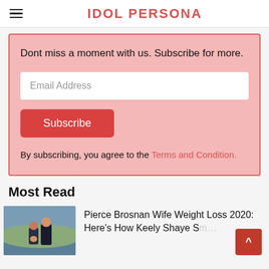IDOL PERSONA
Dont miss a moment with us. Subscribe for more.
Email Address
Subscribe
By subscribing, you agree to the Terms and Condition.
Most Read
Pierce Brosnan Wife Weight Loss 2020: Here's How Keely Shaye Sm...